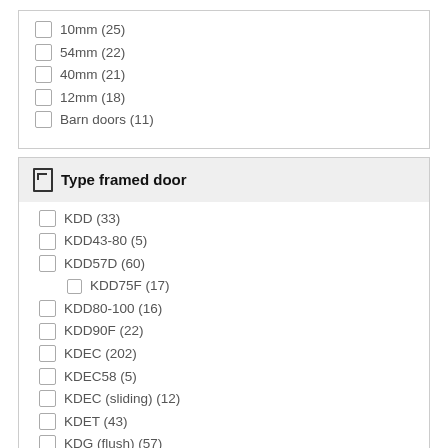10mm (25)
54mm (22)
40mm (21)
12mm (18)
Barn doors (11)
Type framed door
KDD (33)
KDD43-80 (5)
KDD57D (60)
KDD75F (17)
KDD80-100 (16)
KDD90F (22)
KDEC (202)
KDEC58 (5)
KDEC (sliding) (12)
KDET (43)
KDG (flush) (57)
KDG (5)